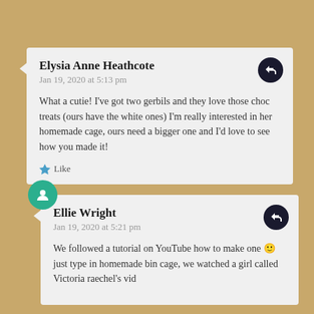Elysia Anne Heathcote
Jan 19, 2020 at 5:13 pm
What a cutie! I've got two gerbils and they love those choc treats (ours have the white ones) I'm really interested in her homemade cage, ours need a bigger one and I'd love to see how you made it!
Like
Ellie Wright
Jan 19, 2020 at 5:21 pm
We followed a tutorial on YouTube how to make one 🙂 just type in homemade bin cage, we watched a girl called Victoria raechel's vid